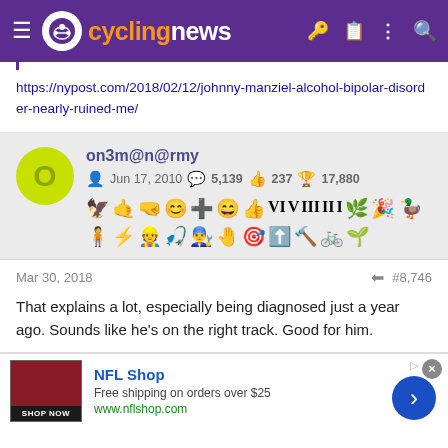cyclingnews
https://nypost.com/2018/02/12/johnny-manziel-alcohol-bipolar-disorder-nearly-ruined-me/
on3m@n@rmy
Jun 17, 2010   5,139   237   17,880
Mar 30, 2018   #8,746
That explains a lot, especially being diagnosed just a year ago. Sounds like he's on the right track. Good for him.
[Figure (screenshot): NFL Shop advertisement banner with shop now button, free shipping on orders over $25, www.nflshop.com]